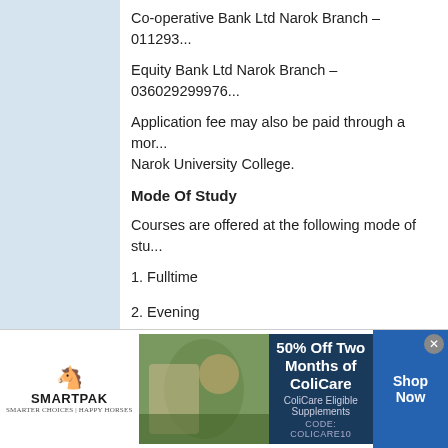Co-operative Bank Ltd Narok Branch – 011293...
Equity Bank Ltd Narok Branch – 036029299976...
Application fee may also be paid through a mor... Narok University College.
Mode Of Study
Courses are offered at the following mode of stu...
1. Fulltime
2. Evening
3. Weekend – for PHD studying at KESI Nairob...
4. School Holidays – for education related cours...
For more information contact us at :-
Administrator
[Figure (infographic): SmartPak advertisement banner showing horse and rider with 50% Off Two Months of ColiCare offer, CODE: COLICARE10, Shop Now button]